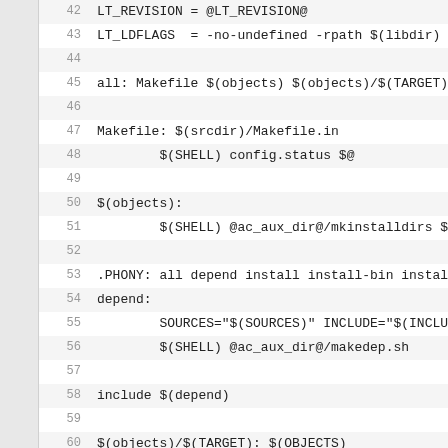42  LT_REVISION = @LT_REVISION@
43  LT_LDFLAGS  = -no-undefined -rpath $(libdir)
44
45  all: Makefile $(objects) $(objects)/$(TARGET)
46
47  Makefile: $(srcdir)/Makefile.in
48          $(SHELL) config.status $@
49
50  $(objects):
51          $(SHELL) @ac_aux_dir@/mkinstalldirs $
52
53  .PHONY: all depend install install-bin instal
54  depend:
55          SOURCES="$(SOURCES)" INCLUDE="$(INCLU
56          $(SHELL) @ac_aux_dir@/makedep.sh
57
58  include $(depend)
59
60  $(objects)/$(TARGET): $(OBJECTS)
61          $(LIBTOOL) --mode=link $(CC) -o $@ $(
62
63  install: install-bin install-hdrs install-lib
64  install-...